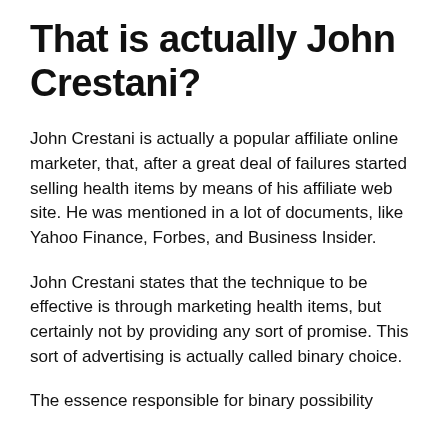That is actually John Crestani?
John Crestani is actually a popular affiliate online marketer, that, after a great deal of failures started selling health items by means of his affiliate web site. He was mentioned in a lot of documents, like Yahoo Finance, Forbes, and Business Insider.
John Crestani states that the technique to be effective is through marketing health items, but certainly not by providing any sort of promise. This sort of advertising is actually called binary choice.
The essence responsible for binary possibility